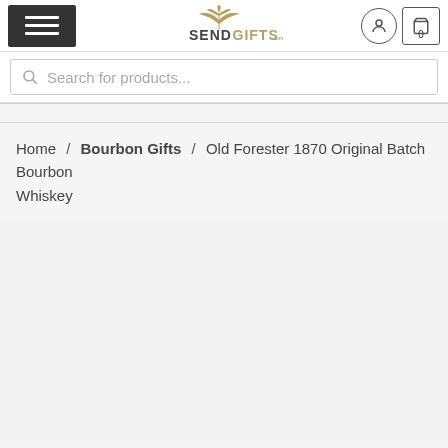SendGifts.com – Navigation header with hamburger menu, logo, account icon, and cart
Search for products...
Home / Bourbon Gifts / Old Forester 1870 Original Batch Bourbon Whiskey